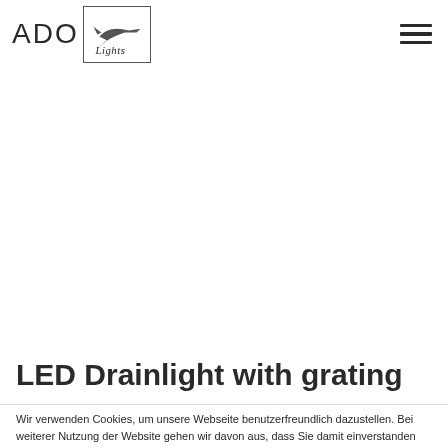[Figure (logo): ADO Lights logo: 'ADO' text in thin capitals followed by a rectangular box containing a stylized airplane and cursive 'Lights' text]
[Figure (other): Hamburger menu icon: three horizontal dark bars stacked vertically in upper right corner]
[Figure (photo): Large blank/white image area occupying the middle section of the page]
LED Drainlight with grating
Wir verwenden Cookies, um unsere Webseite benutzerfreundlich dazustellen. Bei weiterer Nutzung der Website gehen wir davon aus, dass Sie damit einverstanden